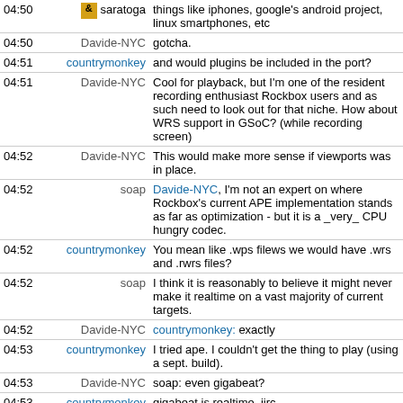| Time | Nick | Message |
| --- | --- | --- |
| 04:50 | saratoga | things like iphones, google's android project, linux smartphones, etc |
| 04:50 | Davide-NYC | gotcha. |
| 04:51 | countrymonkey | and would plugins be included in the port? |
| 04:51 | Davide-NYC | Cool for playback, but I'm one of the resident recording enthusiast Rockbox users and as such need to look out for that niche. How about WRS support in GSoC? (while recording screen) |
| 04:52 | Davide-NYC | This would make more sense if viewports was in place. |
| 04:52 | soap | Davide-NYC, I'm not an expert on where Rockbox's current APE implementation stands as far as optimization - but it is a _very_ CPU hungry codec. |
| 04:52 | countrymonkey | You mean like .wps filews we would have .wrs and .rwrs files? |
| 04:52 | soap | I think it is reasonably to believe it might never make it realtime on a vast majority of current targets. |
| 04:52 | Davide-NYC | countrymonkey: exactly |
| 04:53 | countrymonkey | I tried ape. I couldn't get the thing to play (using a sept. build). |
| 04:53 | Davide-NYC | soap: even gigabeat? |
| 04:53 | countrymonkey | gigabeat is realtime, iirc. |
| 04:54 | soap | IIRC most compression levels are realtime on Gigabeat - need to look at the wiki. |
| 04:54 | soap | also, IIRC WavPack hybrid support isn't 100% - that would be cool. |
| 04:54 | Davide-NYC | no ape info on gigabeat in the wiki |